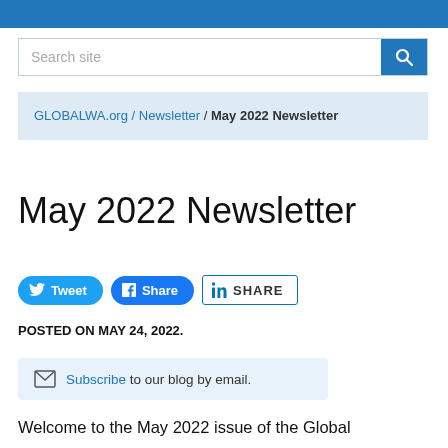[Figure (screenshot): Search site input box with blue search button containing magnifying glass icon]
GLOBALWA.org / Newsletter / May 2022 Newsletter
May 2022 Newsletter
[Figure (infographic): Social share buttons: Tweet (Twitter), Share (Facebook), SHARE (LinkedIn)]
POSTED ON MAY 24, 2022.
Subscribe to our blog by email.
Welcome to the May 2022 issue of the Global